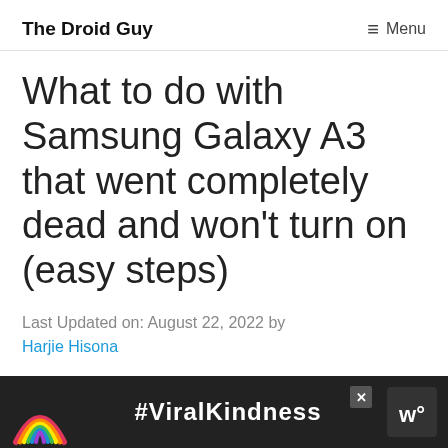The Droid Guy   ≡ Menu
What to do with Samsung Galaxy A3 that went completely dead and won't turn on (easy steps)
Last Updated on: August 22, 2022 by Harjie Hisona
When a phone turns off by itself all of the
[Figure (other): Advertisement banner with rainbow graphic and #ViralKindness text on dark background]